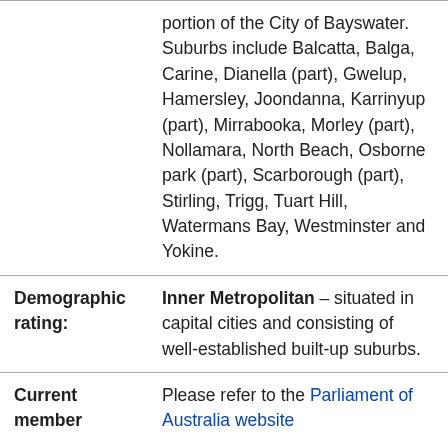| Field | Value |
| --- | --- |
|  | portion of the City of Bayswater. Suburbs include Balcatta, Balga, Carine, Dianella (part), Gwelup, Hamersley, Joondanna, Karrinyup (part), Mirrabooka, Morley (part), Nollamara, North Beach, Osborne park (part), Scarborough (part), Stirling, Trigg, Tuart Hill, Watermans Bay, Westminster and Yokine. |
| Demographic rating: | Inner Metropolitan – situated in capital cities and consisting of well-established built-up suburbs. |
| Current member | Please refer to the Parliament of Australia website |